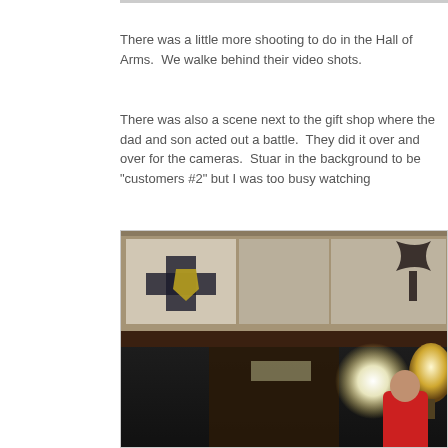There was a little more shooting to do in the Hall of Arms.  We walke behind their video shots.
There was also a scene next to the gift shop where the dad and son acted out a battle.  They did it over and over for the cameras.  Stuar in the background to be "customers #2" but I was too busy watching
[Figure (photo): Indoor photo of a medieval-themed hall (Hall of Arms) with heraldic banners and shields on the ceiling, a dark wood beam, crowd of people as dark silhouettes in the foreground, a bright video/film light on the right side, a person in a red shirt near the right, and film equipment visible at bottom right. The setting appears to be a gift shop or exhibition hall area.]